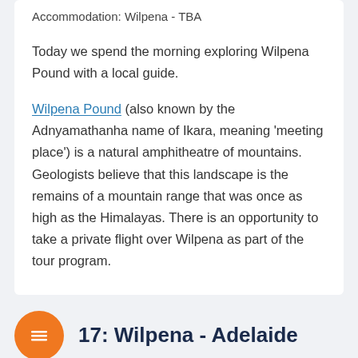Accommodation: Wilpena - TBA
Today we spend the morning exploring Wilpena Pound with a local guide.
Wilpena Pound (also known by the Adnyamathanha name of Ikara, meaning ‘meeting place’) is a natural amphitheatre of mountains. Geologists believe that this landscape is the remains of a mountain range that was once as high as the Himalayas. There is an opportunity to take a private flight over Wilpena as part of the tour program.
17: Wilpena - Adelaide